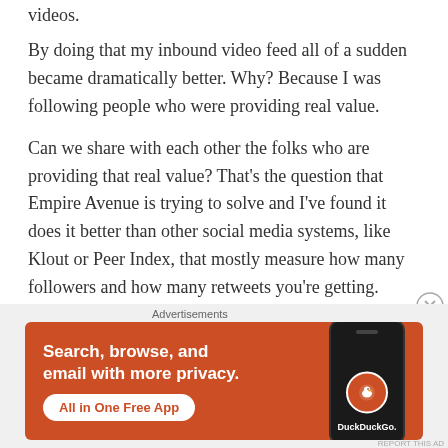videos.
By doing that my inbound video feed all of a sudden became dramatically better. Why? Because I was following people who were providing real value.
Can we share with each other the folks who are providing that real value? That’s the question that Empire Avenue is trying to solve and I’ve found it does it better than other social media systems, like Klout or Peer Index, that mostly measure how many followers and how many retweets you’re getting.
[Figure (other): DuckDuckGo advertisement banner with orange background. Text reads 'Search, browse, and email with more privacy. All in One Free App' with a smartphone showing the DuckDuckGo logo.]